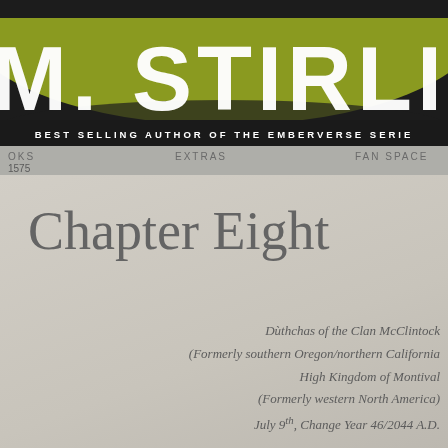[Figure (screenshot): Website header for M. Stirling, best selling author of the Emberverse series, with dark background, olive/yellow-green arc design, large white STIRLING text, navigation bar with EXTRAS and FAN SPACE links, and page number 1575]
Chapter Eight
Dùthchas of the Clan McClintock
(Formerly southern Oregon/northern California
High Kingdom of Montival
(Formerly western North America)
July 9th, Change Year 46/2044 A.D.